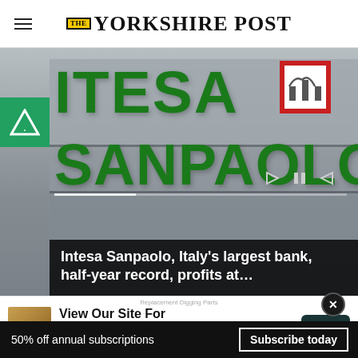THE YORKSHIRE POST
[Figure (photo): Intesa Sanpaolo bank branch exterior sign showing green lettering 'ITESA SANPAOLO' with red-bordered white logo box, video playback controls overlay]
Intesa Sanpaolo, Italy's largest bank, half-year record, profits at...
Replacement Digging Parts
View Our Site For Information
Open
November and December 2018 looked at live
50% off annual subscriptions   Subscribe today